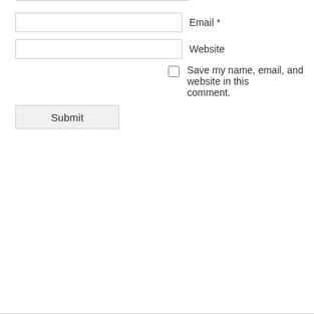Email *
Website
Save my name, email, and website in this comment.
Submit